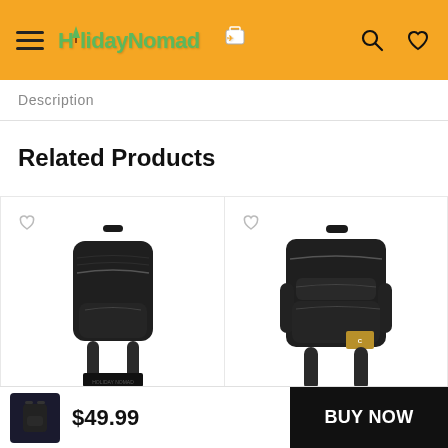HolidayNomad (navigation header with hamburger menu, logo, search and heart icons)
Description
Related Products
[Figure (photo): Black backpack product image (left card) with heart/wishlist icon]
[Figure (photo): Black Carhartt-style backpack product image (right card) with heart/wishlist icon]
$49.99
BUY NOW